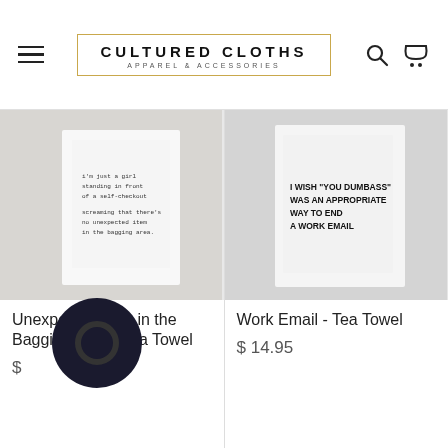[Figure (logo): Cultured Cloths apparel & accessories logo with gold border]
[Figure (photo): Tea towel with text: i'm just a girl standing in front of a self-checkout screaming that there's no unexpected item in the bagging area.]
Unexpected Item in the Bagging Area - Tea Towel
$
[Figure (photo): Tea towel with text: I WISH "YOU DUMBASS" WAS AN APPROPRIATE WAY TO END A WORK EMAIL]
Work Email - Tea Towel
$ 14.95